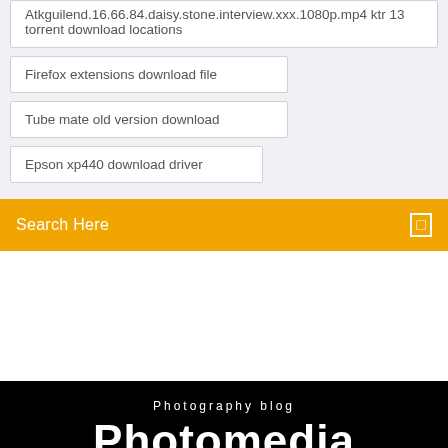Atkguilend.16.66.84.daisy.stone.interview.xxx.1080p.mp4 ktr 13 torrent download locations
Firefox extensions download file
Tube mate old version download
Epson xp440 download driver
Search Here
Photography blog
Photomedia